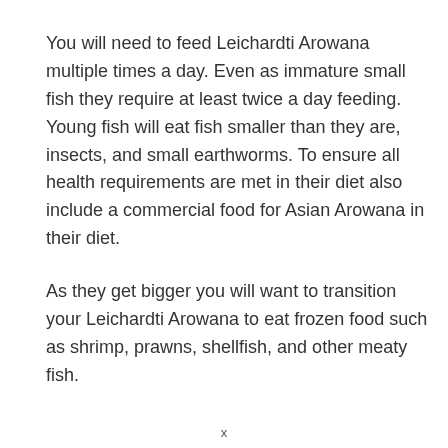You will need to feed Leichardti Arowana multiple times a day. Even as immature small fish they require at least twice a day feeding. Young fish will eat fish smaller than they are, insects, and small earthworms. To ensure all health requirements are met in their diet also include a commercial food for Asian Arowana in their diet.
As they get bigger you will want to transition your Leichardti Arowana to eat frozen food such as shrimp, prawns, shellfish, and other meaty fish.
x